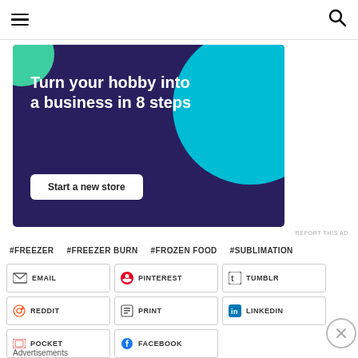Navigation header with hamburger menu and search icon
[Figure (infographic): Advertisement banner: dark purple background with teal/cyan decorative circles. Text: 'Turn your hobby into a business in 8 steps'. Button: 'Start a new store']
REPORT THIS AD
#FREEZER  #FREEZER BURN  #FROZEN FOOD  #SUBLIMATION
EMAIL  PINTEREST  TUMBLR  REDDIT  PRINT  LINKEDIN  POCKET  FACEBOOK
Advertisements
[Figure (infographic): Advertisement banner: dark background with WordPress and UserScan logos. Text: 'Create surveys, polls, quizzes, and forms.']